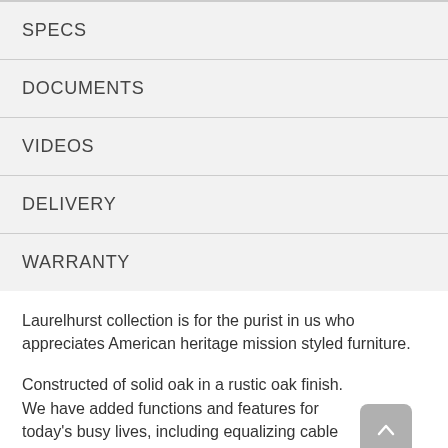SPECS
DOCUMENTS
VIDEOS
DELIVERY
WARRANTY
Laurelhurst collection is for the purist in us who appreciates American heritage mission styled furniture.
Constructed of solid oak in a rustic oak finish. We have added functions and features for today's busy lives, including equalizing cable glide systems and self-storing leaves.
Great attention to detail in construction